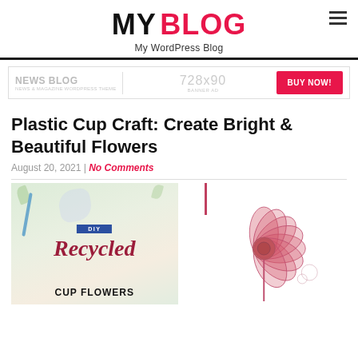MY BLOG — My WordPress Blog
[Figure (infographic): Advertisement banner: NEWS BLOG | 728x90 BANNER AD | BUY NOW! button]
Plastic Cup Craft: Create Bright & Beautiful Flowers
August 20, 2021 | No Comments
[Figure (photo): Two images side by side: left shows DIY Recycled Cup Flowers craft tutorial cover; right shows a pink flower made from a recycled plastic cup on a stem]